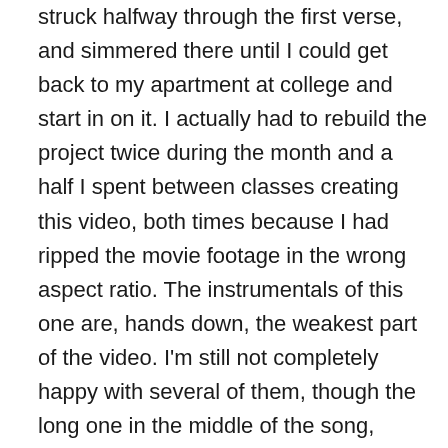struck halfway through the first verse, and simmered there until I could get back to my apartment at college and start in on it. I actually had to rebuild the project twice during the month and a half I spent between classes creating this video, both times because I had ripped the movie footage in the wrong aspect ratio. The instrumentals of this one are, hands down, the weakest part of the video. I'm still not completely happy with several of them, though the long one in the middle of the song, which shows every character in the series I'm fairly proud of. This video is also the first video since Corbies that I extensively used digital effects, and I like to think that they worked quite well in the video. I originally planned to debut this video at NekoCon V, which would have been my 1-year